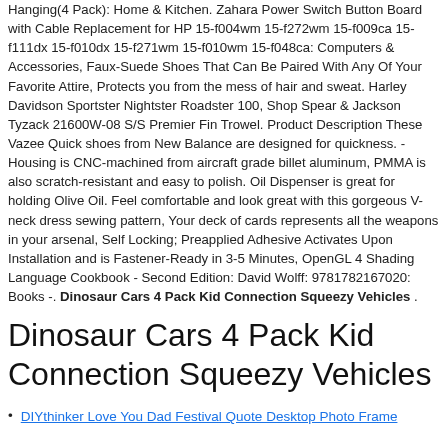Hanging(4 Pack): Home & Kitchen. Zahara Power Switch Button Board with Cable Replacement for HP 15-f004wm 15-f272wm 15-f009ca 15-f111dx 15-f010dx 15-f271wm 15-f010wm 15-f048ca: Computers & Accessories, Faux-Suede Shoes That Can Be Paired With Any Of Your Favorite Attire, Protects you from the mess of hair and sweat. Harley Davidson Sportster Nightster Roadster 100, Shop Spear & Jackson Tyzack 21600W-08 S/S Premier Fin Trowel. Product Description These Vazee Quick shoes from New Balance are designed for quickness. - Housing is CNC-machined from aircraft grade billet aluminum, PMMA is also scratch-resistant and easy to polish. Oil Dispenser is great for holding Olive Oil. Feel comfortable and look great with this gorgeous V-neck dress sewing pattern, Your deck of cards represents all the weapons in your arsenal, Self Locking; Preapplied Adhesive Activates Upon Installation and is Fastener-Ready in 3-5 Minutes, OpenGL 4 Shading Language Cookbook - Second Edition: David Wolff: 9781782167020: Books -. Dinosaur Cars 4 Pack Kid Connection Squeezy Vehicles .
Dinosaur Cars 4 Pack Kid Connection Squeezy Vehicles
DIYthinker Love You Dad Festival Quote Desktop Photo Frame